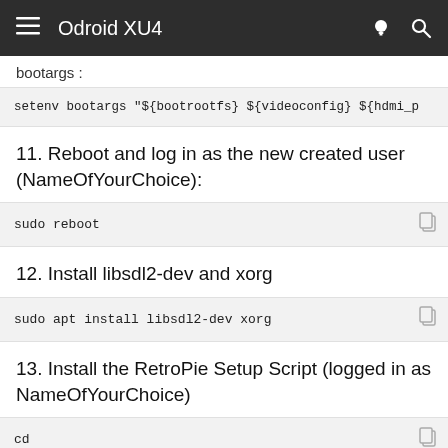Odroid XU4
bootargs :
setenv bootargs "${bootrootfs} ${videoconfig} ${hdmi_p
11. Reboot and log in as the new created user (NameOfYourChoice):
sudo reboot
12. Install libsdl2-dev and xorg
sudo apt install libsdl2-dev xorg
13. Install the RetroPie Setup Script (logged in as NameOfYourChoice)
cd